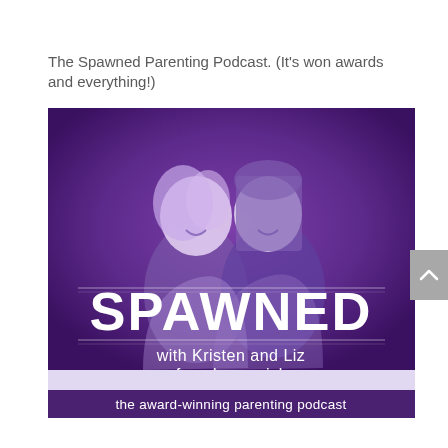The Spawned Parenting Podcast. (It's won awards and everything!)
[Figure (logo): Spawned podcast logo: purple background with illustrated silhouettes of two laughing women, large white text 'SPAWNED', subtitle 'with Kristen and Liz of coolmompicks', bottom banner 'the award-winning parenting podcast']